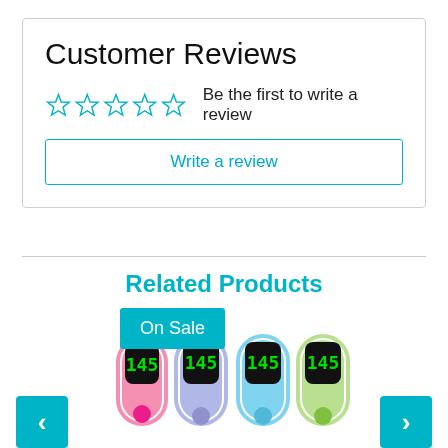Customer Reviews
☆☆☆☆☆  Be the first to write a review
Write a review
Related Products
[Figure (photo): Four colorful handheld electronic devices (thermometers) in pink, purple/blue, light blue, and green colors, each showing '145' on a digital display, with an 'On Sale' teal badge overlay.]